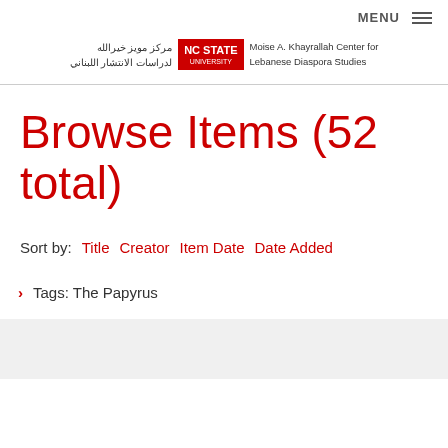MENU ☰
[Figure (logo): NC State University - Moise A. Khayrallah Center for Lebanese Diaspora Studies logo with Arabic text]
Browse Items (52 total)
Sort by: Title  Creator  Item Date  Date Added
› Tags: The Papyrus